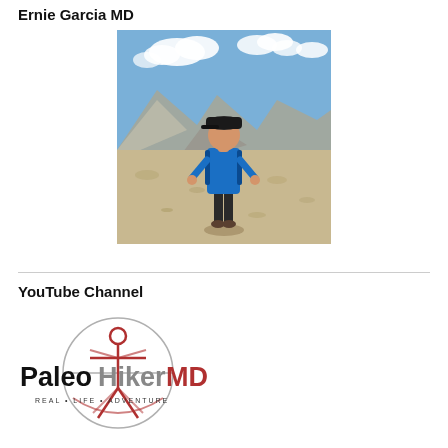Ernie Garcia MD
[Figure (photo): A man wearing a blue shirt, backpack, and dark shorts standing on a rocky alpine terrain with mountains and blue sky in the background.]
YouTube Channel
[Figure (logo): PaleoHikerMD logo featuring a Vitruvian man figure inside a circle with the text 'PaleoHikerMD' and tagline 'REAL • LIFE • ADVENTURE']